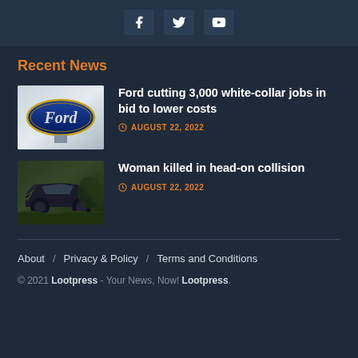Social media icons: Facebook, Twitter, YouTube
Recent News
[Figure (photo): Ford logo oval badge on a car]
Ford cutting 3,000 white-collar jobs in bid to lower costs
AUGUST 22, 2022
[Figure (photo): Damaged car after head-on collision]
Woman killed in head-on collision
AUGUST 22, 2022
About / Privacy & Policy / Terms and Conditions
© 2021 Lootpress - Your News, Now! Lootpress.